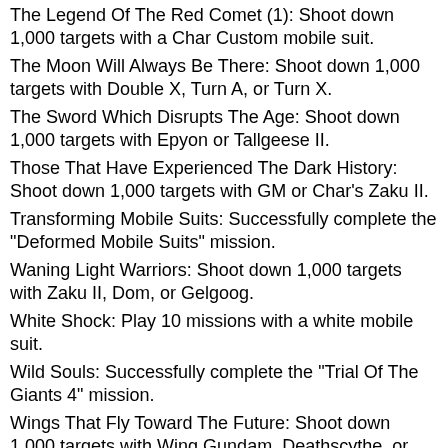The Legend Of The Red Comet (1): Shoot down 1,000 targets with a Char Custom mobile suit.
The Moon Will Always Be There: Shoot down 1,000 targets with Double X, Turn A, or Turn X.
The Sword Which Disrupts The Age: Shoot down 1,000 targets with Epyon or Tallgeese II.
Those That Have Experienced The Dark History: Shoot down 1,000 targets with GM or Char's Zaku II.
Transforming Mobile Suits: Successfully complete the "Deformed Mobile Suits" mission.
Waning Light Warriors: Shoot down 1,000 targets with Zaku II, Dom, or Gelgoog.
White Shock: Play 10 missions with a white mobile suit.
Wild Souls: Successfully complete the "Trial Of The Giants 4" mission.
Wings That Fly Toward The Future: Shoot down 1,000 targets with Wing Gundam, Deathscythe, or Heavyarms.
Witnesses Of Miracles: Shoot down 1,000 targets with Jegan or Geara Doga.
Yellow Shock: Play 10 missions with a yellow mobile suit.
and complete all other color based missions.
Zaku! Zaku! Zaku: Play 20 missions with Zaku II.